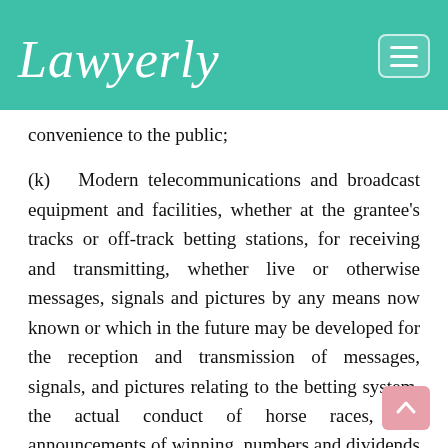Lawyerly
convenience to the public;
(k) Modern telecommunications and broadcast equipment and facilities, whether at the grantee's tracks or off-track betting stations, for receiving and transmitting, whether live or otherwise messages, signals and pictures by any means now known or which in the future may be developed for the reception and transmission of messages, signals, and pictures relating to the betting system, the actual conduct of horse races, the announcements of winning numbers and dividends paid or to be paid thereon, and any other information relating to the conduct and promotion of horse races within or outside the Philippines.
(l) Continuous and back-up power supply, and such